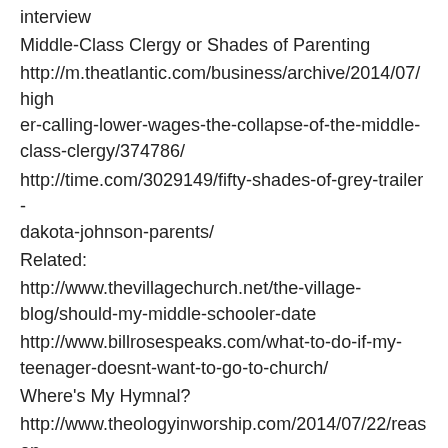interview
Middle-Class Clergy or Shades of Parenting
http://m.theatlantic.com/business/archive/2014/07/higher-calling-lower-wages-the-collapse-of-the-middle-class-clergy/374786/
http://time.com/3029149/fifty-shades-of-grey-trailer-dakota-johnson-parents/
Related:
http://www.thevillagechurch.net/the-village-blog/should-my-middle-schooler-date
http://www.billrosespeaks.com/what-to-do-if-my-teenager-doesnt-want-to-go-to-church/
Where's My Hymnal?
http://www.theologyinworship.com/2014/07/22/reasons-why-we-should-still-be-using-hymnals/
Listener Feedback
Thanks for the reviews! Humbled by our appearance on the iTunes Religion & Spirituality New and Notable